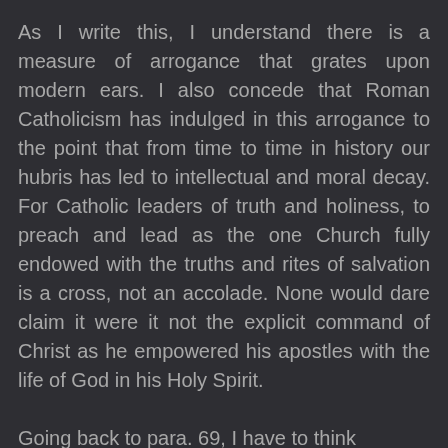As I write this, I understand there is a measure of arrogance that grates upon modern ears. I also concede that Roman Catholicism has indulged in this arrogance to the point that from time to time in history our hubris has led to intellectual and moral decay. For Catholic leaders of truth and holiness, to preach and lead as the one Church fully endowed with the truths and rites of salvation is a cross, not an accolade. None would dare claim it were it not the explicit command of Christ as he empowered his apostles with the life of God in his Holy Spirit.
Going back to para. 69, I have to think